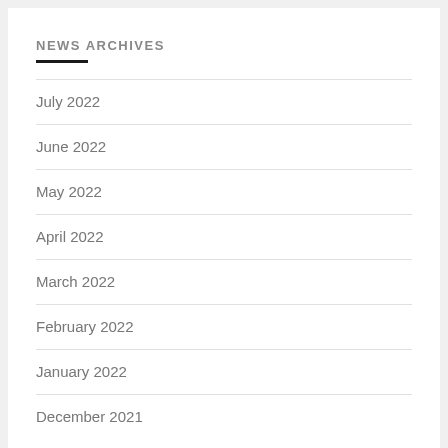NEWS ARCHIVES
July 2022
June 2022
May 2022
April 2022
March 2022
February 2022
January 2022
December 2021